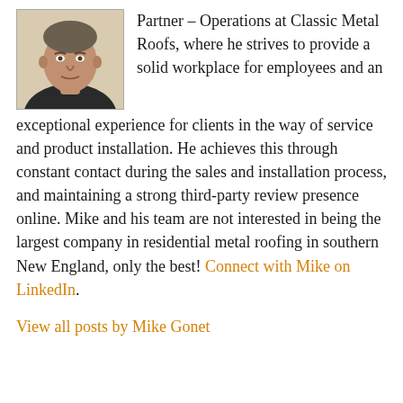[Figure (photo): Headshot photo of a middle-aged man wearing a dark jacket, facing the camera against a light background]
Partner – Operations at Classic Metal Roofs, where he strives to provide a solid workplace for employees and an exceptional experience for clients in the way of service and product installation. He achieves this through constant contact during the sales and installation process, and maintaining a strong third-party review presence online. Mike and his team are not interested in being the largest company in residential metal roofing in southern New England, only the best! Connect with Mike on LinkedIn.
View all posts by Mike Gonet